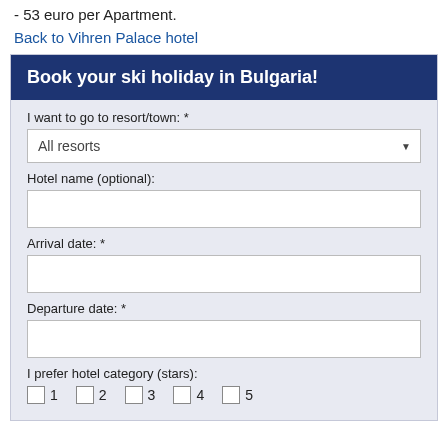- 53 euro per Apartment.
Back to Vihren Palace hotel
Book your ski holiday in Bulgaria!
I want to go to resort/town: *
All resorts
Hotel name (optional):
Arrival date: *
Departure date: *
I prefer hotel category (stars):
1
2
3
4
5